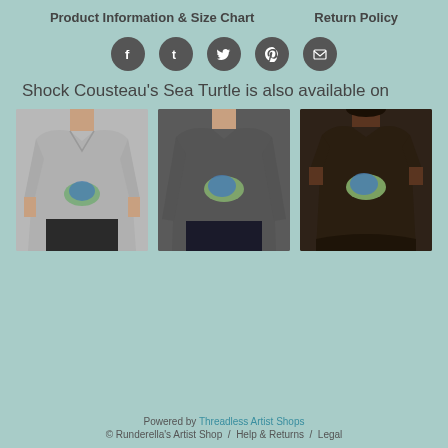Product Information & Size Chart    Return Policy
[Figure (infographic): Five circular social media icon buttons: Facebook (f), Tumblr (t), Twitter bird, Pinterest (p), Email (envelope), each dark gray circle with white icon]
Shock Cousteau's Sea Turtle is also available on
[Figure (photo): Three product photos showing the sea turtle design on: (1) light gray v-neck t-shirt on male model, (2) dark gray long-sleeve shirt on male model, (3) dark brown fitted t-shirt on female model]
Powered by Threadless Artist Shops
© Runderella's Artist Shop  /  Help & Returns  /  Legal